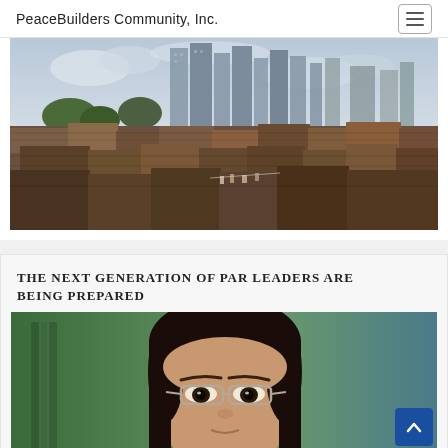PeaceBuilders Community, Inc.
[Figure (photo): Aerial photograph of a dense urban slum area with makeshift tin-roofed structures in the foreground and modern high-rise buildings in the background, under a cloudy sky.]
THE NEXT GENERATION OF PAR LEADERS ARE BEING PREPARED
[Figure (photo): Close-up portrait photograph of a young Asian woman wearing silver-framed glasses, with dark hair, looking directly at the camera.]